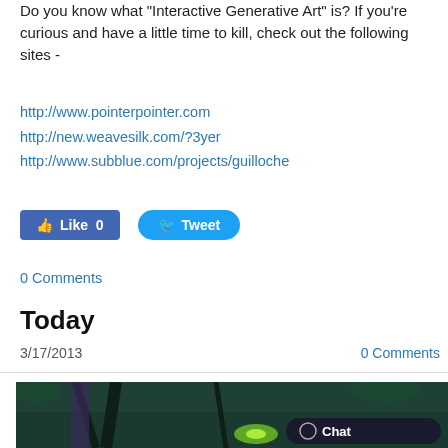Do you know what "Interactive Generative Art" is? If you're curious and have a little time to kill, check out the following sites -
http://www.pointerpointer.com
http://new.weavesilk.com/?3yer
http://www.subblue.com/projects/guilloche
[Figure (screenshot): Social media buttons: Facebook Like (0) and Twitter Tweet]
0 Comments
Today
3/17/2013
0 Comments
[Figure (illustration): Fantasy illustration showing hands holding a glowing green object in a dark jungle setting with bamboo and vines. A chat button overlay is visible in the bottom right corner.]